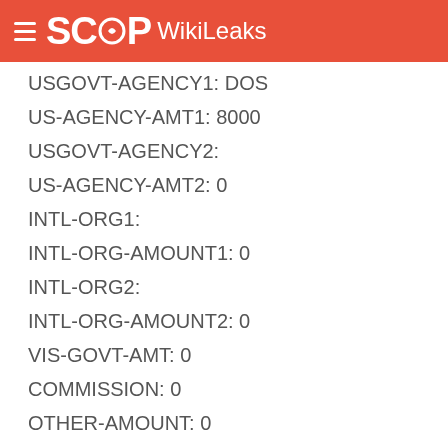SCOOP WikiLeaks
USGOVT-AGENCY1: DOS
US-AGENCY-AMT1: 8000
USGOVT-AGENCY2:
US-AGENCY-AMT2: 0
INTL-ORG1:
INTL-ORG-AMOUNT1: 0
INTL-ORG2:
INTL-ORG-AMOUNT2: 0
VIS-GOVT-AMT: 0
COMMISSION: 0
OTHER-AMOUNT: 0
VIS-AMOUNT: 0
VIS-CAT: 5
END BIO: